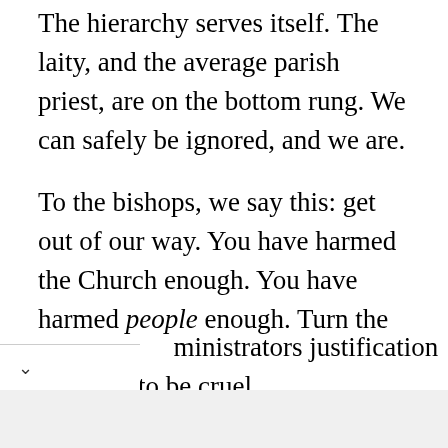The hierarchy serves itself. The laity, and the average parish priest, are on the bottom rung. We can safely be ignored, and we are.
To the bishops, we say this: get out of our way. You have harmed the Church enough. You have harmed people enough. Turn the administrative functions of the Church over to the laity. We do not want you running so much as a yard sale.
It has often been said that the Church is not a democracy. That should not give its administrators justification to be cruel,